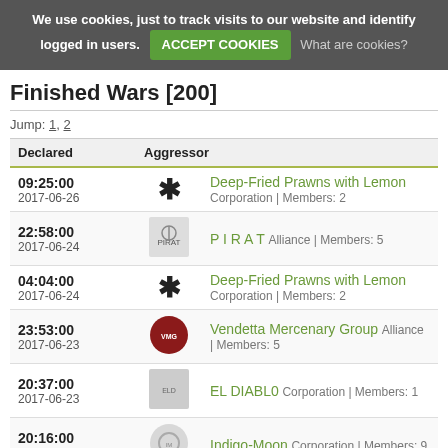We use cookies, just to track visits to our website and identify logged in users. ACCEPT COOKIES What are cookies?
Finished Wars [200]
Jump: 1, 2
| Declared | Aggressor |
| --- | --- |
| 09:25:00
2017-06-26 | Deep-Fried Prawns with Lemon
Corporation | Members: 2 |
| 22:58:00
2017-06-24 | P I R A T
Alliance | Members: 5 |
| 04:04:00
2017-06-24 | Deep-Fried Prawns with Lemon
Corporation | Members: 2 |
| 23:53:00
2017-06-23 | Vendetta Mercenary Group
Alliance | Members: 5 |
| 20:37:00
2017-06-23 | EL DIABL0
Corporation | Members: 1 |
| 20:16:00
2017-06-23 | Indigo-Moon
Corporation | Members: 9 |
| 18:37:00
2017-06-23 | Chilastra Syndicate
Corporation | Members: 8 |
| 14:43:00
2017-06-23 | WarDogs League
Alliance | Members: 80 |